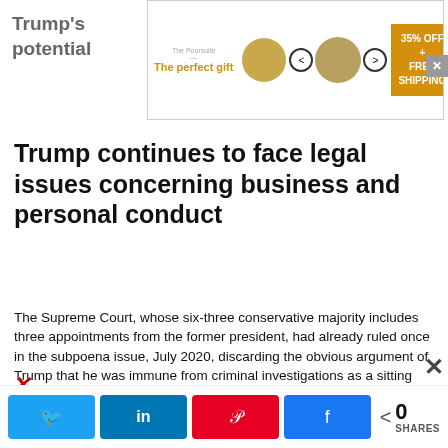[Figure (other): Advertisement banner: 'The perfect gift' with bowl image, arrows, 35% OFF + FREE SHIPPING promo]
Trump continues to face legal issues concerning business and personal conduct
The Supreme Court, whose six-three conservative majority includes three appointments from the former president, had already ruled once in the subpoena issue, July 2020, discarding the obvious argument of Trump that he was immune from criminal investigations as a sitting president. Moreover, Donald Trump, who left office on 20th January after losing the 3rd November election to President Joe Biden...
[Figure (other): Second advertisement banner: 'The perfect gift' with bowl image, arrows, 35% OFF + FREE SHIPPING promo]
Social share bar with Twitter, LinkedIn, Pinterest, Facebook buttons and 0 SHARES